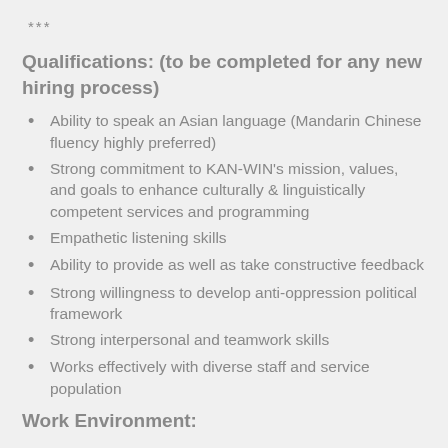***
Qualifications: (to be completed for any new hiring process)
Ability to speak an Asian language (Mandarin Chinese fluency highly preferred)
Strong commitment to KAN-WIN's mission, values, and goals to enhance culturally & linguistically competent services and programming
Empathetic listening skills
Ability to provide as well as take constructive feedback
Strong willingness to develop anti-oppression political framework
Strong interpersonal and teamwork skills
Works effectively with diverse staff and service population
Work Environment: